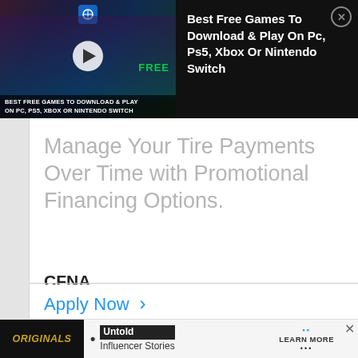[Figure (screenshot): Top advertisement banner showing a gaming ad with dark background, game characters, play button, and text 'BEST FREE GAMES TO DOWNLOAD & PLAY ON PC, PS5, XBOX OR NINTENDO SWITCH' on the left image side, and title text 'Best Free Games To Download & Play On Pc, Ps5, Xbox Or Nintendo Switch' on the right dark panel with a close button.]
Manage Your Tire Payments Over Time with Promotional Financing Options.
CFNA
Apply Now >
[Figure (screenshot): Bottom advertisement banner with dark logo showing 'ORIGINALS' text, a bullet point, 'Untold' in a dark box, 'Influencer Stories' text, and 'LEARN MORE' button with dots. Close button X on the right.]